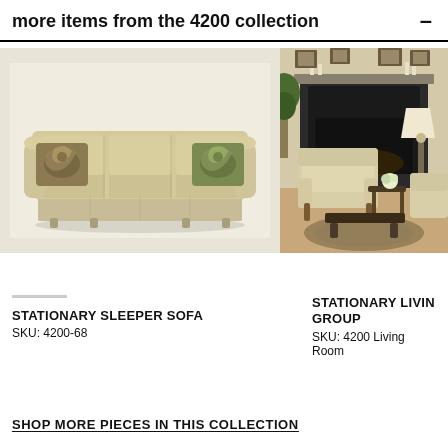more items from the 4200 collection
[Figure (photo): Stationary sleeper sofa with beige/tan fabric and decorative paisley throw pillows on each end, three cushion seat, rolled arms, skirted base]
[Figure (photo): Living room group with cream upholstered wing chair and matching sofa in front of a dark fireplace, with lamp and topiary plant]
STATIONARY SLEEPER SOFA
SKU: 4200-68
STATIONARY LIVING ROOM GROUP
SKU: 4200 Living Room
SHOP MORE PIECES IN THIS COLLECTION